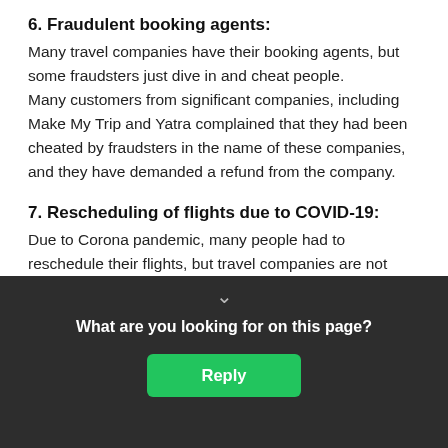6. Fraudulent booking agents:
Many travel companies have their booking agents, but some fraudsters just dive in and cheat people.
Many customers from significant companies, including Make My Trip and Yatra complained that they had been cheated by fraudsters in the name of these companies, and they have demanded a refund from the company.
7. Rescheduling of flights due to COVID-19:
Due to Corona pandemic, many people had to reschedule their flights, but travel companies are not helping them or are not considering their request.
8. Over billing by travel companies:
The most common types of complaints regarding Ola and Uber include o billing in the cab. But ber of Ola whic ch is 13000912
[Figure (screenshot): Dark popup overlay with chevron arrow, bold white text 'What are you looking for on this page?' and a green Reply button]